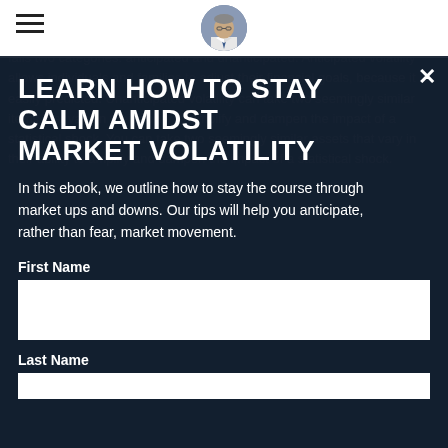[Figure (photo): Profile photo of a man in a suit and tie, circular avatar in navigation bar]
LEARN HOW TO STAY CALM AMIDST MARKET VOLATILITY
In this ebook, we outline how to stay the course through market ups and downs. Our tips will help you anticipate, rather than fear, market movement.
First Name
Last Name